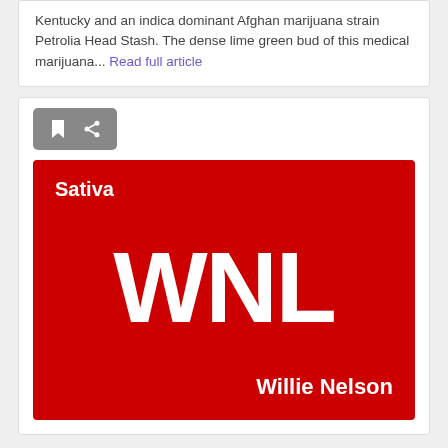Kentucky and an indica dominant Afghan marijuana strain Petrolia Head Stash. The dense lime green bud of this medical marijuana... Read full article
[Figure (logo): Red square logo with white text. Top-left reads 'Sativa', center has large letters 'WNL', bottom-right reads 'Willie Nelson'.]